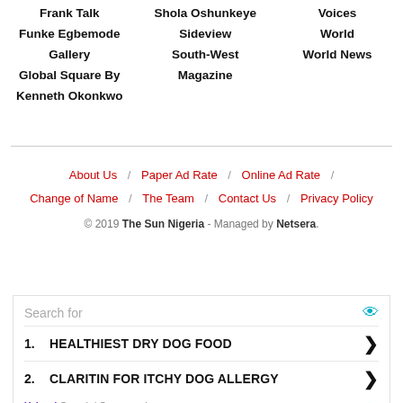Frank Talk
Shola Oshunkeye
Voices
Funke Egbemode
Sideview
World
Gallery
South-West Magazine
World News
Global Square By Kenneth Okonkwo
About Us / Paper Ad Rate / Online Ad Rate / Change of Name / The Team / Contact Us / Privacy Policy
© 2019 The Sun Nigeria - Managed by Netsera.
Search for
1. HEALTHIEST DRY DOG FOOD
2. CLARITIN FOR ITCHY DOG ALLERGY
Yahoo! Search | Sponsored